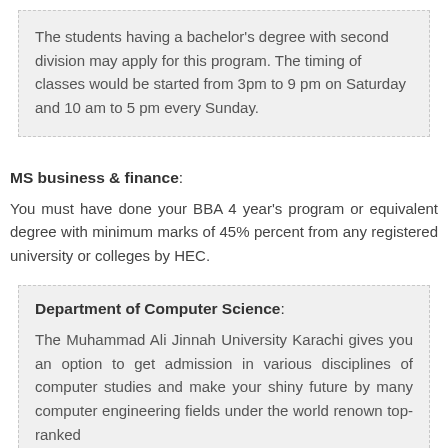The students having a bachelor's degree with second division may apply for this program. The timing of classes would be started from 3pm to 9 pm on Saturday and 10 am to 5 pm every Sunday.
MS business & finance:
You must have done your BBA 4 year's program or equivalent degree with minimum marks of 45% percent from any registered university or colleges by HEC.
Department of Computer Science:
The Muhammad Ali Jinnah University Karachi gives you an option to get admission in various disciplines of computer studies and make your shiny future by many computer engineering fields under the world renown top-ranked